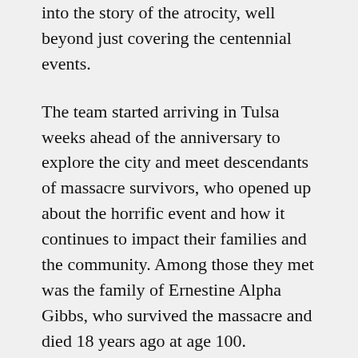into the story of the atrocity, well beyond just covering the centennial events.
The team started arriving in Tulsa weeks ahead of the anniversary to explore the city and meet descendants of massacre survivors, who opened up about the horrific event and how it continues to impact their families and the community. Among those they met was the family of Ernestine Alpha Gibbs, who survived the massacre and died 18 years ago at age 100.
Their efforts resulted in a comprehensive package of enterprise